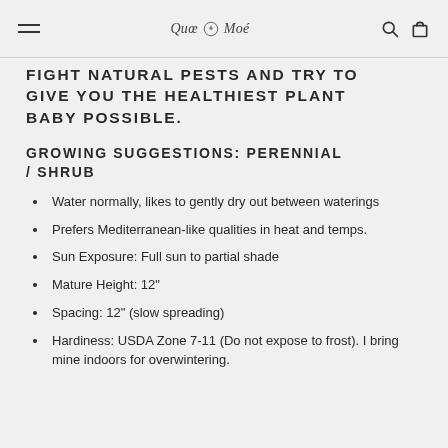Quee Moi — navigation header with hamburger menu, logo, search and cart icons
FIGHT NATURAL PESTS AND TRY TO GIVE YOU THE HEALTHIEST PLANT BABY POSSIBLE.
GROWING SUGGESTIONS: PERENNIAL / SHRUB
Water normally, likes to gently dry out between waterings
Prefers Mediterranean-like qualities in heat and temps.
Sun Exposure: Full sun to partial shade
Mature Height: 12"
Spacing: 12" (slow spreading)
Hardiness: USDA Zone 7-11 (Do not expose to frost). I bring mine indoors for overwintering.